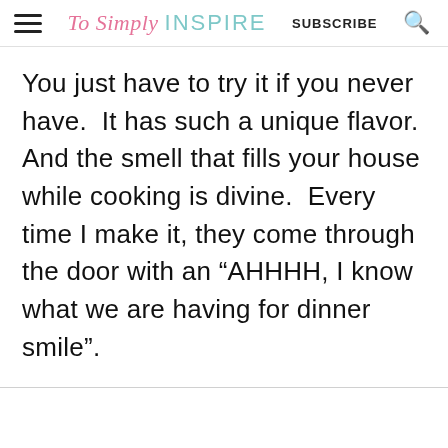To Simply INSPIRE   SUBSCRIBE
You just have to try it if you never have.  It has such a unique flavor. And the smell that fills your house while cooking is divine.  Every time I make it, they come through the door with an “AHHHH, I know what we are having for dinner smile”.